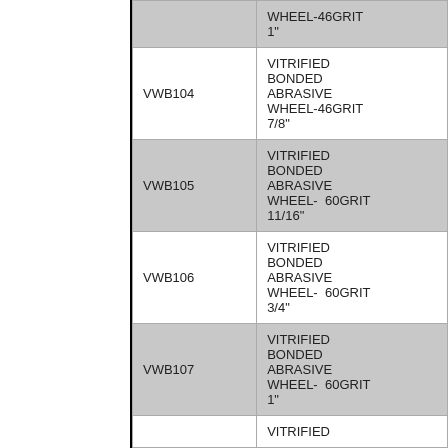| Code | Description |
| --- | --- |
|  | WHEEL-46GRIT 1" |
| VWB104 | VITRIFIED BONDED ABRASIVE WHEEL-46GRIT 7/8" |
| VWB105 | VITRIFIED BONDED ABRASIVE WHEEL- 60GRIT 11/16" |
| VWB106 | VITRIFIED BONDED ABRASIVE WHEEL- 60GRIT 3/4" |
| VWB107 | VITRIFIED BONDED ABRASIVE WHEEL- 60GRIT 1" |
|  | VITRIFIED |